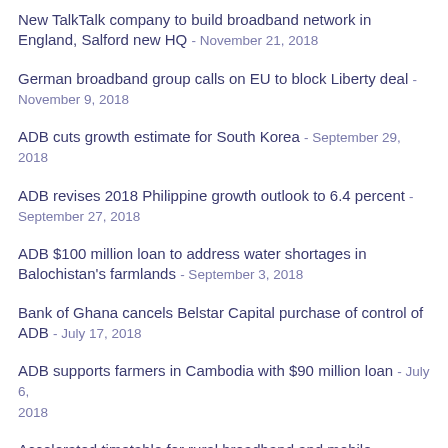New TalkTalk company to build broadband network in England, Salford new HQ - November 21, 2018
German broadband group calls on EU to block Liberty deal - November 9, 2018
ADB cuts growth estimate for South Korea - September 29, 2018
ADB revises 2018 Philippine growth outlook to 6.4 percent - September 27, 2018
ADB $100 million loan to address water shortages in Balochistan's farmlands - September 3, 2018
Bank of Ghana cancels Belstar Capital purchase of control of ADB - July 17, 2018
ADB supports farmers in Cambodia with $90 million loan - July 6, 2018
Accelerated timetable for rural broadband and mobile coverage